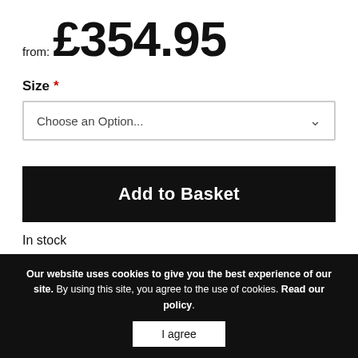from: £354.95
Size *
Choose an Option...
Add to Basket
In stock
FREE DELIVERY  - Delivery in 5-15 days
Our website uses cookies to give you the best experience of our site. By using this site, you agree to the use of cookies. Read our policy.
I agree